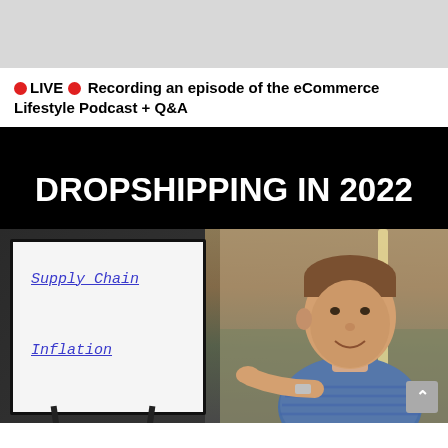[Figure (screenshot): Gray banner/header area at the top of a social media or web page]
🔴 LIVE 🔴 Recording an episode of the eCommerce Lifestyle Podcast + Q&A
[Figure (photo): Video thumbnail showing 'DROPSHIPPING IN 2022' text with a man pointing to a whiteboard listing 'Supply Chain' and 'Inflation']